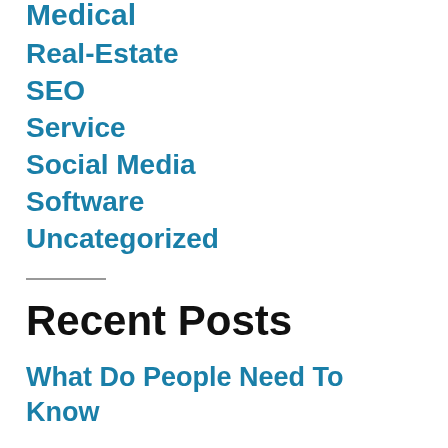Medical
Real-Estate
SEO
Service
Social Media
Software
Uncategorized
Recent Posts
What Do People Need To Know